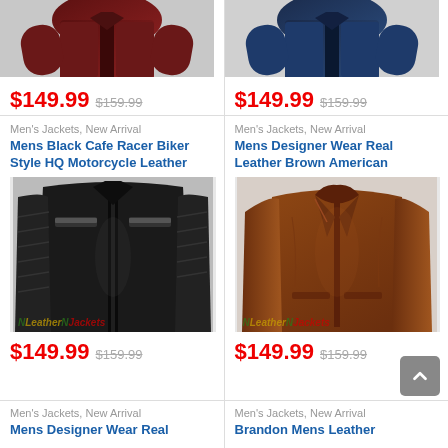[Figure (photo): Partial top view of a burgundy/dark red leather jacket]
[Figure (photo): Partial top view of a navy blue leather jacket]
$149.99  $159.99
$149.99  $159.99
Men's Jackets, New Arrival
Mens Black Cafe Racer Biker Style HQ Motorcycle Leather
Men's Jackets, New Arrival
Mens Designer Wear Real Leather Brown American
[Figure (photo): Black cafe racer biker motorcycle leather jacket with quilted panels]
[Figure (photo): Brown American designer wear real leather jacket]
$149.99  $159.99
$149.99  $159.99
Men's Jackets, New Arrival
Mens Designer Wear Real
Men's Jackets, New Arrival
Brandon Mens Leather